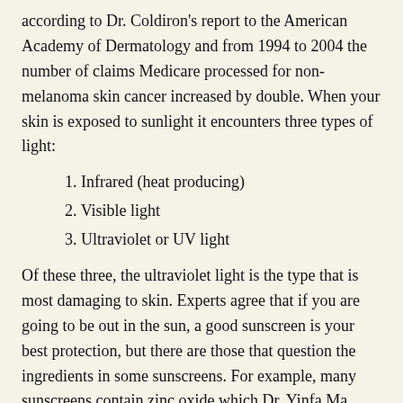according to Dr. Coldiron's report to the American Academy of Dermatology and from 1994 to 2004 the number of claims Medicare processed for non-melanoma skin cancer increased by double. When your skin is exposed to sunlight it encounters three types of light:
1. Infrared (heat producing)
2. Visible light
3. Ultraviolet or UV light
Of these three, the ultraviolet light is the type that is most damaging to skin. Experts agree that if you are going to be out in the sun, a good sunscreen is your best protection, but there are those that question the ingredients in some sunscreens. For example, many sunscreens contain zinc oxide which Dr. Yinfa Ma, Missouri S&T Professor of chemistry, and Qingbo Yang, graduate student, maintain produces a chemical